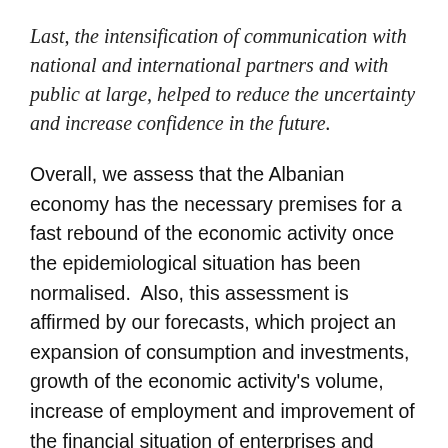Last, the intensification of communication with national and international partners and with public at large, helped to reduce the uncertainty and increase confidence in the future.
Overall, we assess that the Albanian economy has the necessary premises for a fast rebound of the economic activity once the epidemiological situation has been normalised.  Also, this assessment is affirmed by our forecasts, which project an expansion of consumption and investments, growth of the economic activity's volume, increase of employment and improvement of the financial situation of enterprises and households in the following period. The economic growth will help the strengthening of inflationary pressures and the return of inflation to